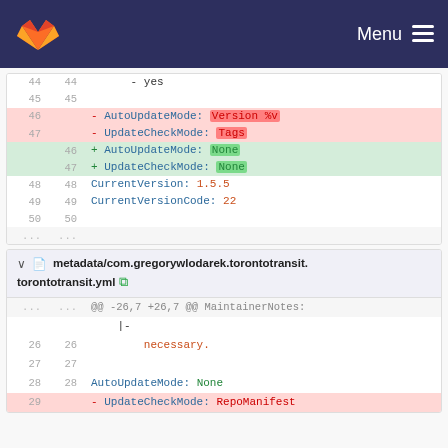Menu
[Figure (screenshot): GitLab diff view showing code changes. First diff block: lines 44-50 and ellipsis, showing removal of AutoUpdateMode: Version %v and UpdateCheckMode: Tags, added AutoUpdateMode: None and UpdateCheckMode: None, with lines CurrentVersion: 1.5.5 and CurrentVersionCode: 22. Second diff block with file header: metadata/com.gregorywlodarek.torontotransit.torontotransit.yml, showing hunk @@ -26,7 +26,7 @@ MaintainerNotes: |-, lines 26-28 with necessary. and AutoUpdateMode: None, line 29 deletion of UpdateCheckMode: RepoManifest.]